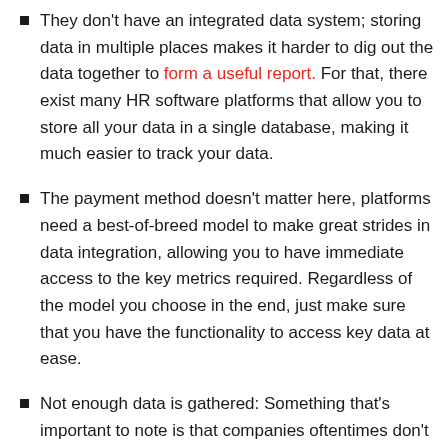They don't have an integrated data system; storing data in multiple places makes it harder to dig out the data together to form a useful report. For that, there exist many HR software platforms that allow you to store all your data in a single database, making it much easier to track your data.
The payment method doesn't matter here, platforms need a best-of-breed model to make great strides in data integration, allowing you to have immediate access to the key metrics required. Regardless of the model you choose in the end, just make sure that you have the functionality to access key data at ease.
Not enough data is gathered: Something that's important to note is that companies oftentimes don't gather the amount of data required, leading to no analysis in the future. This can make things a